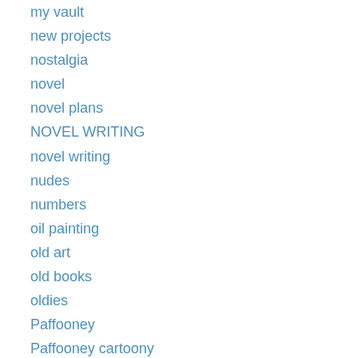my vault
new projects
nostalgia
novel
novel plans
NOVEL WRITING
novel writing
nudes
numbers
oil painting
old art
old books
oldies
Paffooney
Paffooney cartoony
Paffooney Posts
Pegasus
pen and ink
pen and ink paffoonies
pessimism